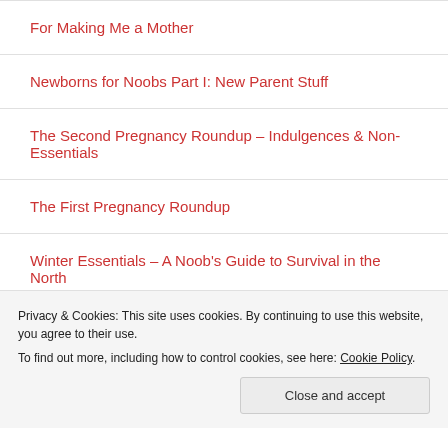For Making Me a Mother
Newborns for Noobs Part I: New Parent Stuff
The Second Pregnancy Roundup – Indulgences & Non-Essentials
The First Pregnancy Roundup
Winter Essentials – A Noob's Guide to Survival in the North
Search …
Privacy & Cookies: This site uses cookies. By continuing to use this website, you agree to their use.
To find out more, including how to control cookies, see here: Cookie Policy
Close and accept